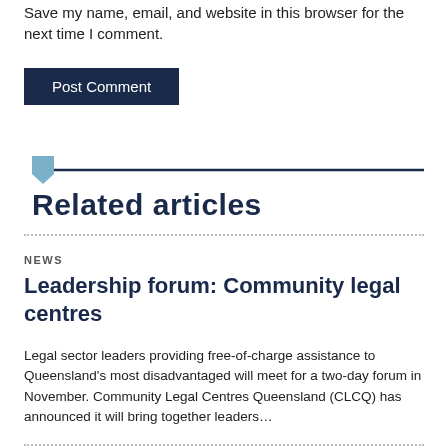Save my name, email, and website in this browser for the next time I comment.
Post Comment
Related articles
NEWS
Leadership forum: Community legal centres
Legal sector leaders providing free-of-charge assistance to Queensland's most disadvantaged will meet for a two-day forum in November. Community Legal Centres Queensland (CLCQ) has announced it will bring together leaders…